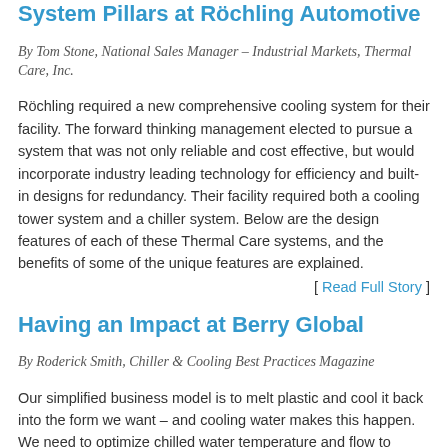System Pillars at Röchling Automotive
By Tom Stone, National Sales Manager – Industrial Markets, Thermal Care, Inc.
Röchling required a new comprehensive cooling system for their facility. The forward thinking management elected to pursue a system that was not only reliable and cost effective, but would incorporate industry leading technology for efficiency and built-in designs for redundancy. Their facility required both a cooling tower system and a chiller system. Below are the design features of each of these Thermal Care systems, and the benefits of some of the unique features are explained.
[ Read Full Story ]
Having an Impact at Berry Global
By Roderick Smith, Chiller & Cooling Best Practices Magazine
Our simplified business model is to melt plastic and cool it back into the form we want – and cooling water makes this happen. We need to optimize chilled water temperature and flow to ensure that our production machines make consistent finished products. In molding application, we cool the plastic